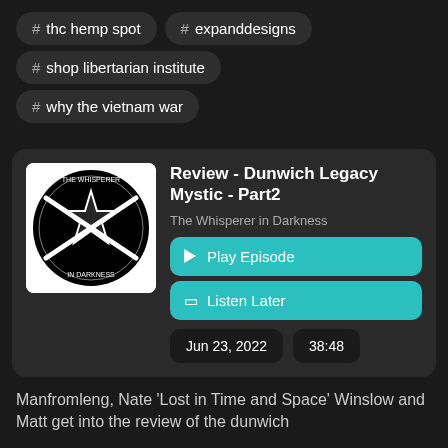# thc hemp spot
# expanddesigns
# shop libertarian institute
# why the vietnam war
[Figure (logo): The Whisperer in Darkness podcast logo — black circle with crossed rifles and a pentagram star, white text around the border]
Review - Dunwich Legacy Mystic - Part2
The Whisperer in Darkness
Play Episode
Listen Later
Jun 23, 2022
38:48
Manfromleng, Nate 'Lost in Time and Space' Winslow and Matt get into the review of the dunwich